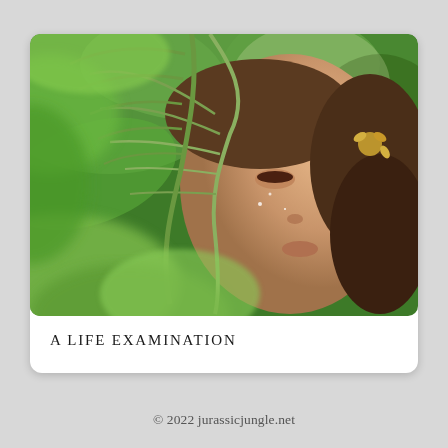[Figure (photo): A young woman with floral hair accessories, eyes closed, surrounded by lush green tropical foliage and palm leaves in a jungle setting. The photo has a soft, dreamy quality with blurred foreground leaves.]
A LIFE EXAMINATION
© 2022 jurassicjungle.net